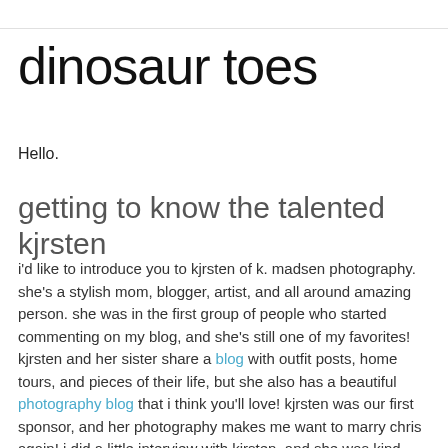dinosaur toes
Hello.
getting to know the talented kjrsten
i'd like to introduce you to kjrsten of k. madsen photography. she's a stylish mom, blogger, artist, and all around amazing person. she was in the first group of people who started commenting on my blog, and she's still one of my favorites! kjrsten and her sister share a blog with outfit posts, home tours, and pieces of their life, but she also has a beautiful photography blog that i think you'll love! kjrsten was our first sponsor, and her photography makes me want to marry chris again! i did a little interview with kjrsten, and she was kind enough to offer a special giveaway, but you'll have to wait until tomorrow to see!